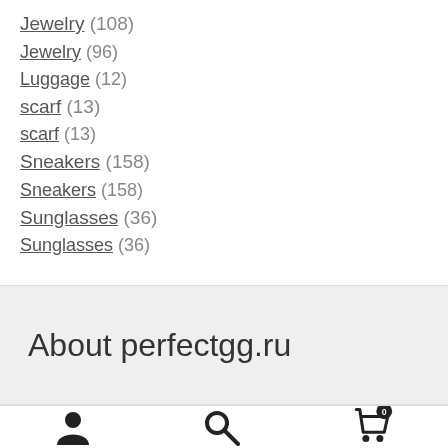Jewelry (108)
Jewelry (96)
Luggage (12)
scarf (13)
scarf (13)
Sneakers (158)
Sneakers (158)
Sunglasses (36)
Sunglasses (36)
About perfectgg.ru
[Figure (infographic): Bottom navigation bar with user icon, search icon, and cart icon with badge showing 0]